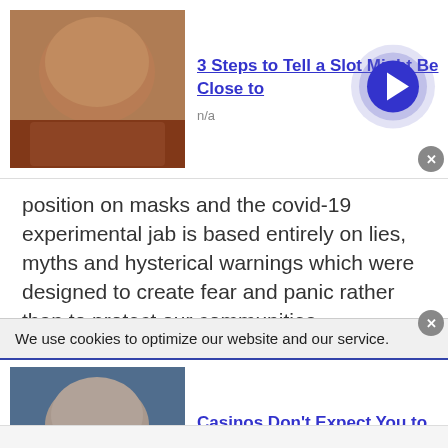[Figure (illustration): Ad banner: photo of elderly man with reddish shirt, blue text title '3 Steps to Tell a Slot Might Be Close to', n/a label, and arrow button]
position on masks and the covid-19 experimental jab is based entirely on lies, myths and hysterical warnings which were designed to create fear and panic rather than to protect our communities.
And if the GMC decides to try to take away Dr Sam White's licence then it will have to defend those feeble lies against a battalion of truths. The GMC will be making the biggest mistake in
We use cookies to optimize our website and our service.
[Figure (illustration): Ad banner: photo of man in blue shirt, blue text title 'Casinos Don't Expect You to Do This; but', n/a label, and arrow button]